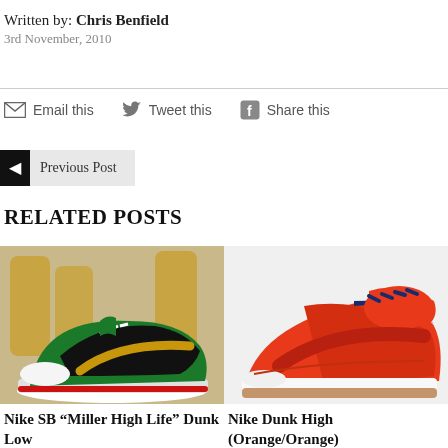Written by: Chris Benfield
3rd November, 2010
✉ Email this   🐦 Tweet this   f Share this
◄ Previous Post
RELATED POSTS
[Figure (photo): Nike SB sneaker (green/black/gold) with beer bottles in background]
Nike SB “Miller High Life” Dunk Low
[Figure (photo): Nike Dunk High sneaker in orange/red colorway with navy laces]
Nike Dunk High (Orange/Orange)